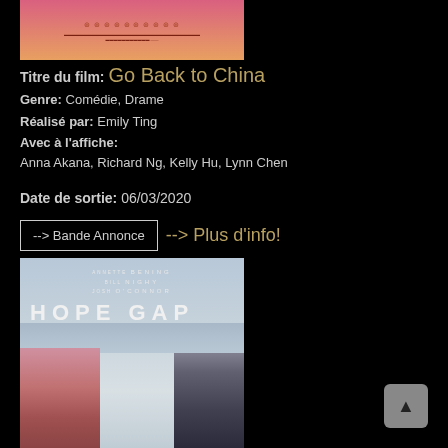[Figure (photo): Movie poster for 'Go Back to China' with pink/orange background and festival award icons]
Titre du film: Go Back to China
Genre: Comédie, Drame
Réalisé par: Emily Ting
Avec à l'affiche: Anna Akana, Richard Ng, Kelly Hu, Lynn Chen
Date de sortie: 06/03/2020
--> Bande Annonce --> Plus d'info!
[Figure (photo): Movie poster for 'Hope Gap' showing two figures standing by the sea, with text HOPE GAP in large letters]